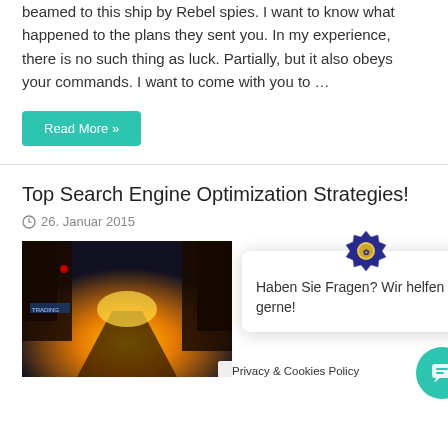beamed to this ship by Rebel spies. I want to know what happened to the plans they sent you. In my experience, there is no such thing as luck. Partially, but it also obeys your commands. I want to come with you to …
Read More »
Top Search Engine Optimization Strategies!
26. Januar 2015
[Figure (photo): Dark cyberpunk city street scene with warm golden light glowing from the far end of a narrow alley, with neon signs and dramatic atmosphere]
Haben Sie Fragen? Wir helfen gerne!
Privacy & Cookies Policy